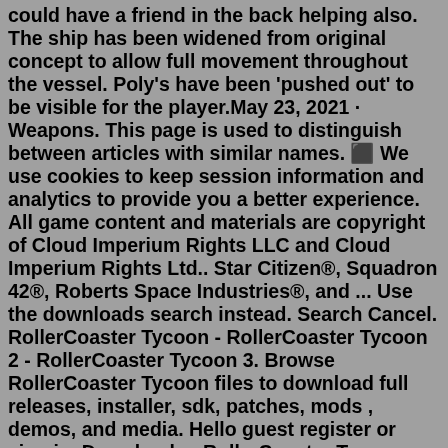could have a friend in the back helping also. The ship has been widened from original concept to allow full movement throughout the vessel. Poly's have been 'pushed out' to be visible for the player.May 23, 2021 · Weapons. This page is used to distinguish between articles with similar names. ⬛ We use cookies to keep session information and analytics to provide you a better experience. All game content and materials are copyright of Cloud Imperium Rights LLC and Cloud Imperium Rights Ltd.. Star Citizen®, Squadron 42®, Roberts Space Industries®, and ... Use the downloads search instead. Search Cancel. RollerCoaster Tycoon - RollerCoaster Tycoon 2 - RollerCoaster Tycoon 3. Browse RollerCoaster Tycoon files to download full releases, installer, sdk, patches, mods , demos, and media. Hello guest register or sign in. Downloads - RollerCoaster Tycoon . This is the latest official patch for the US.Armor is just refined rocks, mining laser should totally fuck up a ship at close ranges. Especially if you're some how able to get close enough and dogfight with a mining ship, the attacker deserves